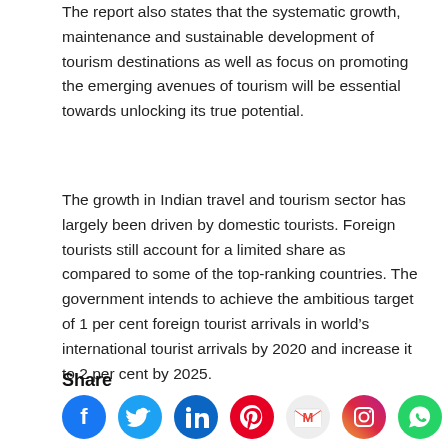The report also states that the systematic growth, maintenance and sustainable development of tourism destinations as well as focus on promoting the emerging avenues of tourism will be essential towards unlocking its true potential.
The growth in Indian travel and tourism sector has largely been driven by domestic tourists. Foreign tourists still account for a limited share as compared to some of the top-ranking countries. The government intends to achieve the ambitious target of 1 per cent foreign tourist arrivals in world’s international tourist arrivals by 2020 and increase it to 2 per cent by 2025.
Share
[Figure (other): Social media share icons: Facebook, Twitter, LinkedIn, Pinterest, Gmail, Instagram, WhatsApp]